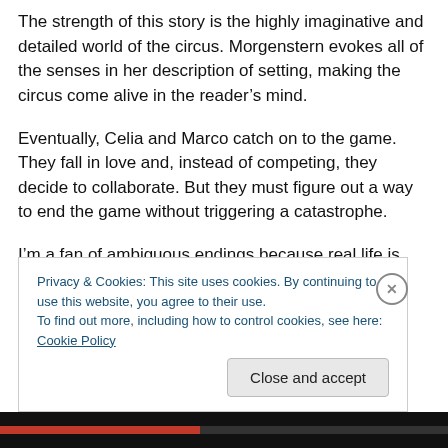The strength of this story is the highly imaginative and detailed world of the circus. Morgenstern evokes all of the senses in her description of setting, making the circus come alive in the reader's mind.
Eventually, Celia and Marco catch on to the game. They fall in love and, instead of competing, they decide to collaborate. But they must figure out a way to end the game without triggering a catastrophe.
I'm a fan of ambiguous endings because real life is that way. Rarely do people live happily ever after. However,
Privacy & Cookies: This site uses cookies. By continuing to use this website, you agree to their use.
To find out more, including how to control cookies, see here: Cookie Policy
Close and accept